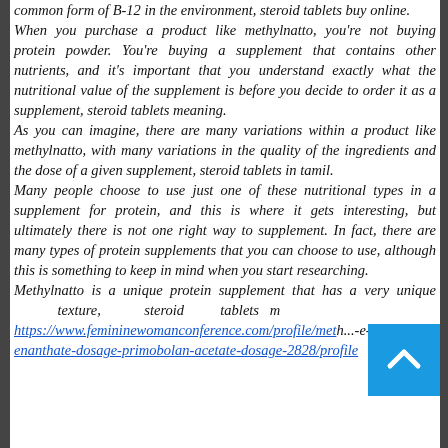common form of B-12 in the environment, steroid tablets buy online.
When you purchase a product like methylnatto, you're not buying protein powder. You're buying a supplement that contains other nutrients, and it's important that you understand exactly what the nutritional value of the supplement is before you decide to order it as a supplement, steroid tablets meaning.
As you can imagine, there are many variations within a product like methylnatto, with many variations in the quality of the ingredients and the dose of a given supplement, steroid tablets in tamil.
Many people choose to use just one of these nutritional types in a supplement for protein, and this is where it gets interesting, but ultimately there is not one right way to supplement. In fact, there are many types of protein supplements that you can choose to use, although this is something to keep in mind when you start researching.
Methylnatto is a unique protein supplement that has a very unique texture, steroid tablets m https://www.femininewomanconference.com/profile/meth...-e-enanthate-dosage-primobolan-acetate-dosage-2828/profile